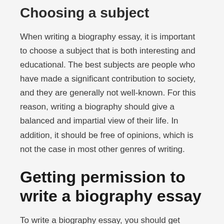Choosing a subject
When writing a biography essay, it is important to choose a subject that is both interesting and educational. The best subjects are people who have made a significant contribution to society, and they are generally not well-known. For this reason, writing a biography should give a balanced and impartial view of their life. In addition, it should be free of opinions, which is not the case in most other genres of writing.
Getting permission to write a biography essay
To write a biography essay, you should get